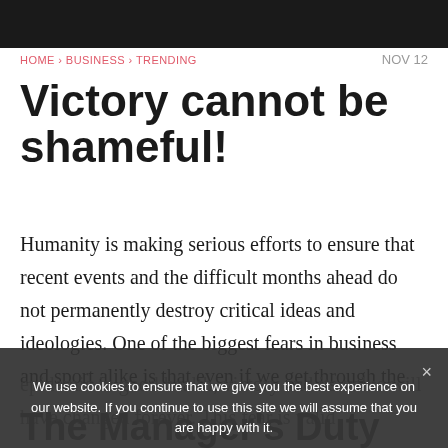[Figure (photo): Dark/black top banner image]
HOME › BUSINESS › TRENDING   NOV 12
Victory cannot be shameful!
Humanity is making serious efforts to ensure that recent events and the difficult months ahead do not permanently destroy critical ideas and ideologies. One of the biggest fears in business and sport alike is that even if we get through the epidemic in good health, victory and its value will have changed forever. This fear is valid
The Manager's Duty